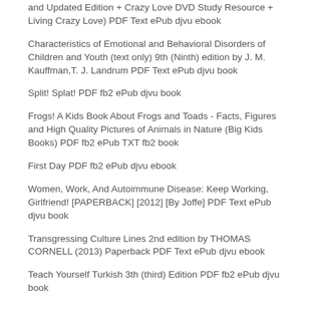and Updated Edition + Crazy Love DVD Study Resource + Living Crazy Love) PDF Text ePub djvu ebook
Characteristics of Emotional and Behavioral Disorders of Children and Youth (text only) 9th (Ninth) edition by J. M. Kauffman,T. J. Landrum PDF Text ePub djvu book
Split! Splat! PDF fb2 ePub djvu book
Frogs! A Kids Book About Frogs and Toads - Facts, Figures and High Quality Pictures of Animals in Nature (Big Kids Books) PDF fb2 ePub TXT fb2 book
First Day PDF fb2 ePub djvu ebook
Women, Work, And Autoimmune Disease: Keep Working, Girlfriend! [PAPERBACK] [2012] [By Joffe] PDF Text ePub djvu book
Transgressing Culture Lines 2nd edition by THOMAS CORNELL (2013) Paperback PDF Text ePub djvu ebook
Teach Yourself Turkish 3th (third) Edition PDF fb2 ePub djvu book